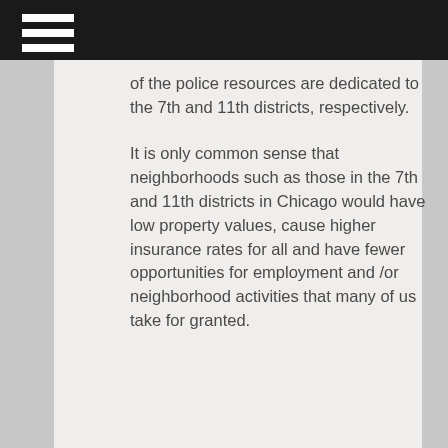of the police resources are dedicated to the 7th and 11th districts, respectively.
It is only common sense that neighborhoods such as those in the 7th and 11th districts in Chicago would have low property values, cause higher insurance rates for all and have fewer opportunities for employment and /or neighborhood activities that many of us take for granted.